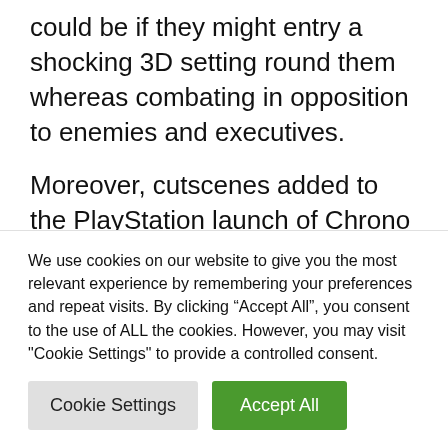could be if they might entry a shocking 3D setting round them whereas combating in opposition to enemies and executives.
Moreover, cutscenes added to the PlayStation launch of Chrono Set off might be touched up or recreated completely to showcase the capabilities of immediately's consoles. They may look completely beautiful and produce a lot life to the characters and the world.
We use cookies on our website to give you the most relevant experience by remembering your preferences and repeat visits. By clicking “Accept All”, you consent to the use of ALL the cookies. However, you may visit "Cookie Settings" to provide a controlled consent.